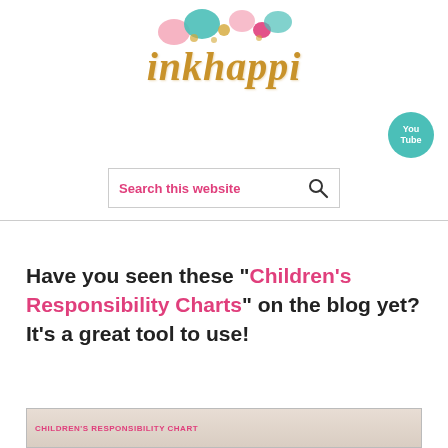[Figure (logo): inkhappi blog logo with colorful balloons and gold script text]
[Figure (logo): YouTube button - teal circular button with 'You Tube' text in white]
Search this website
Have you seen these "Children's Responsibility Charts" on the blog yet? It's a great tool to use!
[Figure (screenshot): Partial image of a children's responsibility chart on a wooden background]